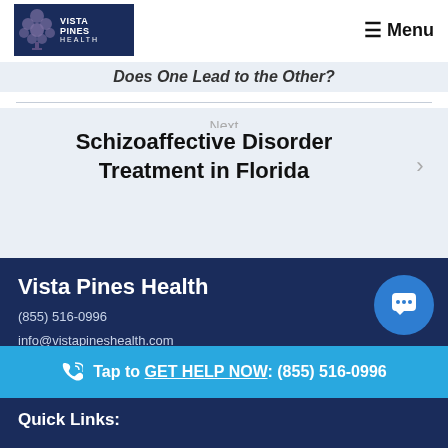Vista Pines Health — Menu
Does One Lead to the Other?
Next
Schizoaffective Disorder Treatment in Florida
Vista Pines Health
(855) 516-0996
info@vistapineshealth.com
1300 Hibiscus Drive
Tap to GET HELP NOW: (855) 516-0996
Quick Links: